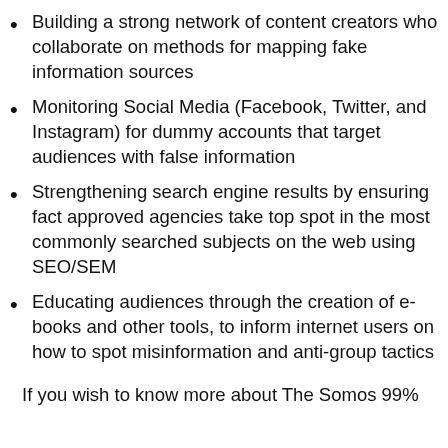Building a strong network of content creators who collaborate on methods for mapping fake information sources
Monitoring Social Media (Facebook, Twitter, and Instagram) for dummy accounts that target audiences with false information
Strengthening search engine results by ensuring fact approved agencies take top spot in the most commonly searched subjects on the web using SEO/SEM
Educating audiences through the creation of e-books and other tools, to inform internet users on how to spot misinformation and anti-group tactics
If you wish to know more about The Somos 99%